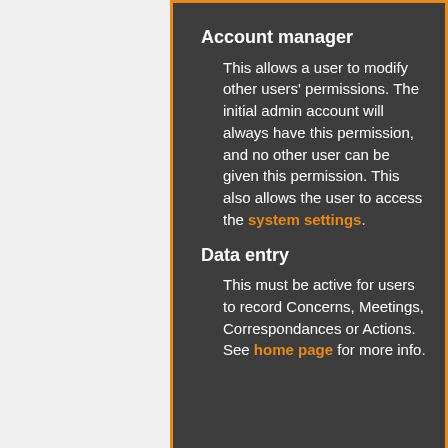Account manager
This allows a user to modify other users' permissions. The initial admin account will always have this permission, and no other user can be given this permission. This also allows the user to access the system settings.
Data entry
This must be active for users to record Concerns, Meetings, Correspondances or Actions. See home page for more info.